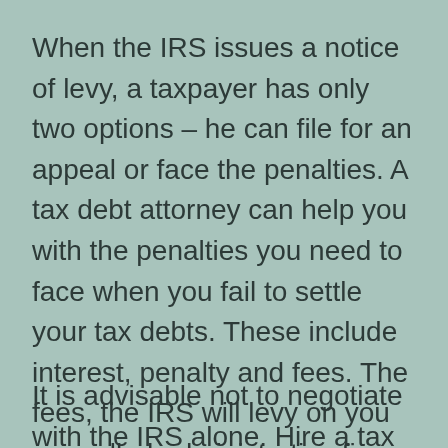When the IRS issues a notice of levy, a taxpayer has only two options – he can file for an appeal or face the penalties. A tax debt attorney can help you with the penalties you need to face when you fail to settle your tax debts. These include interest, penalty and fees. The fees, the IRS will levy on you are called administrative fines which need not be paid.
It is advisable not to negotiate with the IRS alone. Hire a tax debt attorney to assist you in